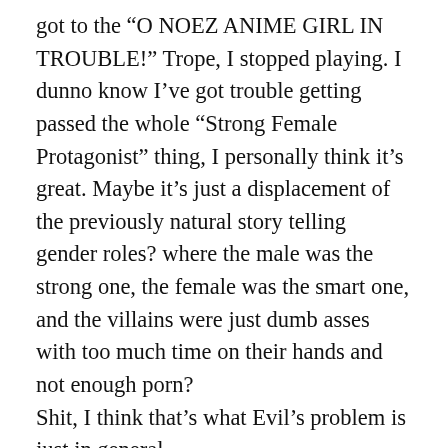got to the “O NOEZ ANIME GIRL IN TROUBLE!” Trope, I stopped playing. I dunno know I’ve got trouble getting passed the whole “Strong Female Protagonist” thing, I personally think it’s great. Maybe it’s just a displacement of the previously natural story telling gender roles? where the male was the strong one, the female was the smart one, and the villains were just dumb asses with too much time on their hands and not enough porn?
Shit, I think that’s what Evil’s problem is just in general.
They can’t get laid, i mean, sex solves all the worlds problems, if just temporarily.
But, I’ve noticed the change myself in my own editing of Sogno Della Dinastia, with Divertenti